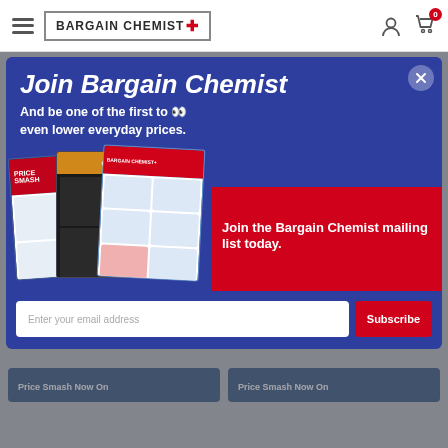BARGAIN CHEMIST+
[Figure (screenshot): Bargain Chemist website screenshot with modal newsletter signup popup. Modal has dark blue background, heading 'Join Bargain Chemist', subtitle 'And be one of the first to 👀 even lower everyday prices.', catalogue images on the left, red CTA band 'Join the Bargain Chemist mailing list today.', and an email subscription form at bottom.]
Join Bargain Chemist
And be one of the first to 👀 even lower everyday prices.
Join the Bargain Chemist mailing list today.
Enter your email address
Subscribe
Price Smash Now On
Price Smash Now On